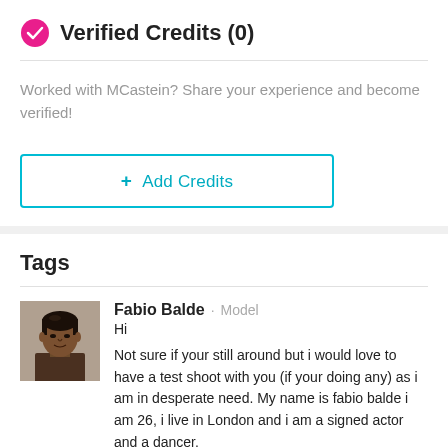Verified Credits (0)
Worked with MCastein? Share your experience and become verified!
+ Add Credits
Tags
[Figure (photo): Avatar photo of Fabio Balde, a model — a man with short hair, dark skin, shirtless, photographed from chest up]
Fabio Balde · Model
Hi

Not sure if your still around but i would love to have a test shoot with you (if your doing any) as i am in desperate need. My name is fabio balde i am 26, i live in London and i am a signed actor and a dancer.

Please do get in touch, so that we can sort something